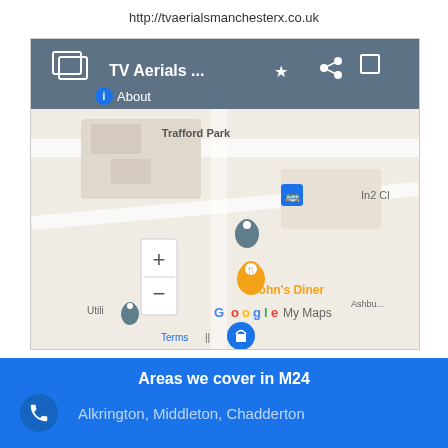http://tvaerialsmanchesterx.co.uk
[Figure (screenshot): Google My Maps screenshot showing Trafford Park area with map markers for TV Aerials location and John's Diner, with zoom controls, star, share and fullscreen buttons in a dark toolbar.]
Areas we cover in M24
Alkrington, Middleton, Chadderton